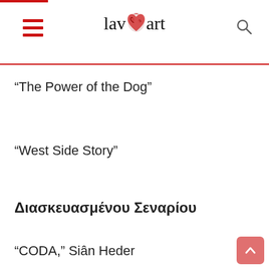laveart
“The Power of the Dog”
“West Side Story”
Διασκευασμένου Σεναρίου
“CODA,” Siân Heder